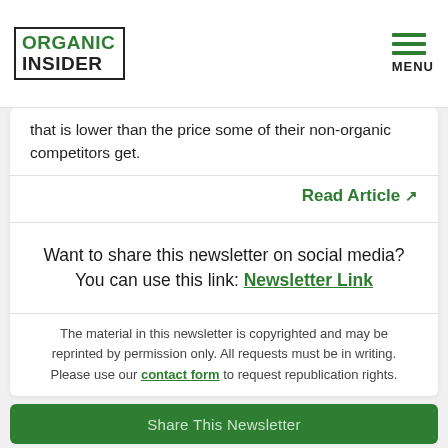ORGANIC INSIDER | MENU
that is lower than the price some of their non-organic competitors get.
Read Article
Want to share this newsletter on social media? You can use this link: Newsletter Link
The material in this newsletter is copyrighted and may be reprinted by permission only. All requests must be in writing. Please use our contact form to request republication rights.
Share This Newsletter